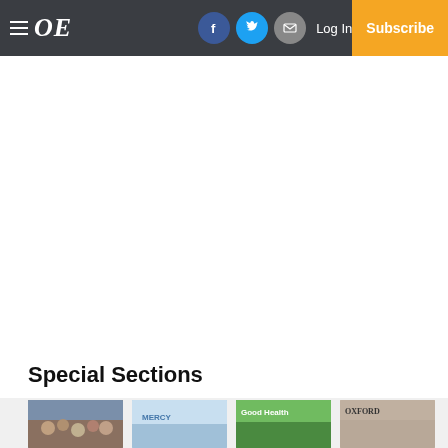OE — Log In — Subscribe (navigation bar with hamburger menu, Facebook, Twitter, Email icons)
Special Sections
[Figure (photo): Row of four publication thumbnail images partially visible at bottom of page: crowd photo, blue/water image, Good Health publication cover, Oxford-related publication cover]